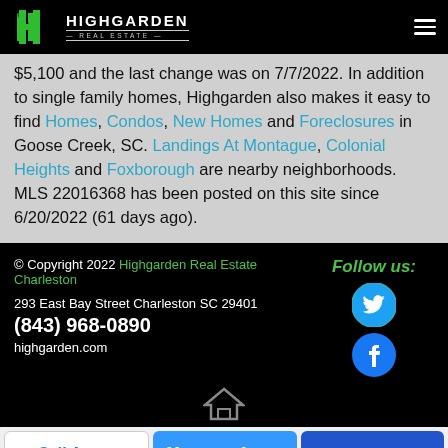Highgarden Real Estate
$5,100 and the last change was on 7/7/2022. In addition to single family homes, Highgarden also makes it easy to find Homes, Condos, New Homes and Foreclosures in Goose Creek, SC. Landings At Montague, Colonial Heights and Foxborough are nearby neighborhoods. MLS 22016368 has been posted on this site since 6/20/2022 (61 days ago).
© Copyright 2022 Highgarden Real Estate Charleston
293 East Bay Street Charleston SC 29401
(843) 968-0890
highgarden.com